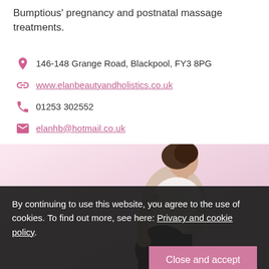Bumptious' pregnancy and postnatal massage treatments.
146-148 Grange Road, Blackpool, FY3 8PG
www.elanbeautyandholistics.co.uk
01253 302552
elanhb@hotmail.co.uk
[Figure (photo): A pregnant woman sitting, viewed from the side, wearing a white top and dark trousers against a pink background]
By continuing to use this website, you agree to the use of cookies. To find out more, see here: Privacy and cookie policy.